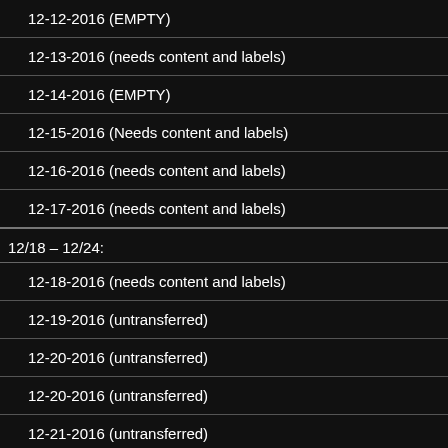12-12-2016 (EMPTY)
12-13-2016 (needs content and labels)
12-14-2016 (EMPTY)
12-15-2016 (Needs content and labels)
12-16-2016 (needs content and labels)
12-17-2016 (needs content and labels)
12/18 – 12/24:
12-18-2016 (needs content and labels)
12-19-2016 (untransferred)
12-20-2016 (untransferred)
12-20-2016 (untransferred)
12-21-2016 (untransferred)